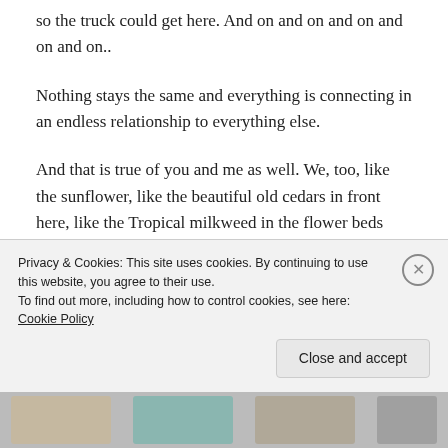so the truck could get here. And on and on and on and on and on..
Nothing stays the same and everything is connecting in an endless relationship to everything else.
And that is true of you and me as well. We, too, like the sunflower, like the beautiful old cedars in front here, like the Tropical milkweed in the flower beds outside and the Monarchs which will be fluttering around them in the fall, like them..we too are a God-indwelling mysterious and wonderful manifestation of soil, sun.
Privacy & Cookies: This site uses cookies. By continuing to use this website, you agree to their use.
To find out more, including how to control cookies, see here: Cookie Policy
Close and accept